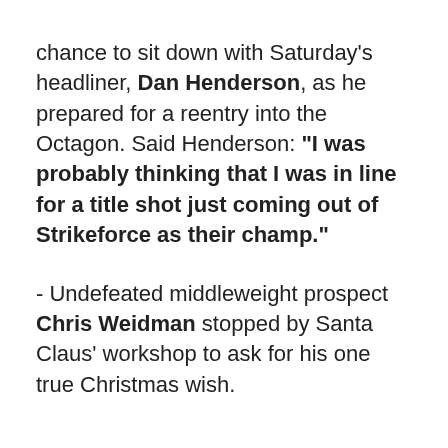chance to sit down with Saturday's headliner, Dan Henderson, as he prepared for a reentry into the Octagon. Said Henderson: "I was probably thinking that I was in line for a title shot just coming out of Strikeforce as their champ."
- Undefeated middleweight prospect Chris Weidman stopped by Santa Claus' workshop to ask for his one true Christmas wish.